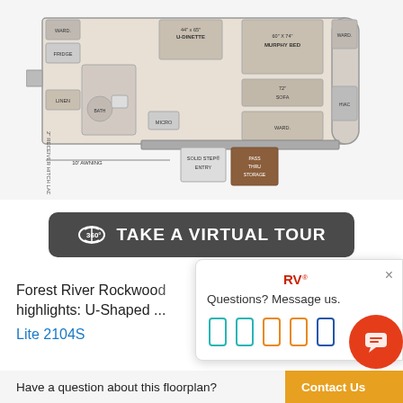[Figure (schematic): RV floorplan diagram for Forest River Rockwood Mini Lite 2104S showing layout from above: U-Dinette (44x65), Murphy Bed (60x74), 72 Sofa, wardrobe, fridge, linen, micro, HVAC, ladder, 2-inch receiver hitch, 10-foot awning, solid step entry, pass-thru storage]
360° TAKE A VIRTUAL TOUR
Forest River Rockwood highlights: U-Shaped ...
Lite 2104S
Questions? Message us.
Have a question about this floorplan?
Contact Us